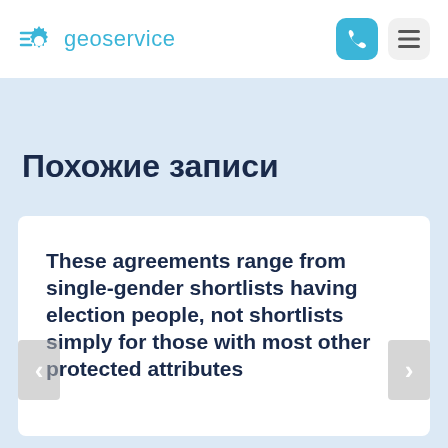geoservice
Похожие записи
These agreements range from single-gender shortlists having election people, not shortlists simply for those with most other protected attributes